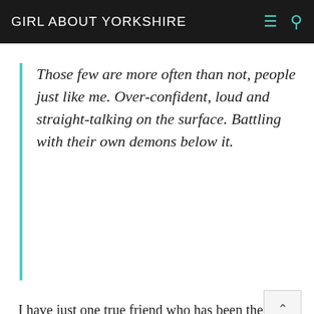GIRL ABOUT YORKSHIRE
Those few are more often than not, people just like me. Over-confident, loud and straight-talking on the surface. Battling with their own demons below it.
I have just one true friend who has been there though all the drama that life has dealt me. Life has also dealt her enough drama and upset and let's face it, the cards you are dealt create the foundations of who you are and the paths that are ahead of you.  It's the paths you choose that go on